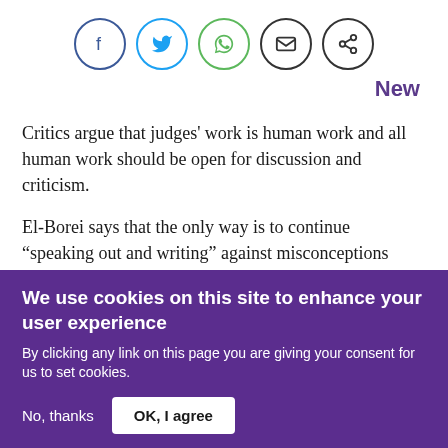[Figure (other): Row of five social sharing icon circles: Facebook (blue), Twitter (blue), WhatsApp (green), Email (black), Share (black)]
New
Critics argue that judges' work is human work and all human work should be open for discussion and criticism.
El-Borei says that the only way is to continue “speaking out and writing” against misconceptions promoted about
We use cookies on this site to enhance your user experience
By clicking any link on this page you are giving your consent for us to set cookies.
No, thanks
OK, I agree